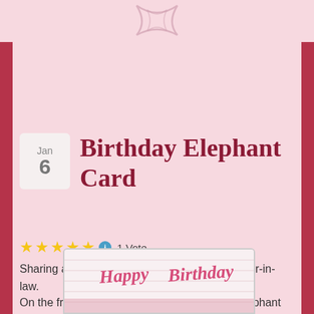[Figure (illustration): Decorative ribbon/bow SVG logo at top center on pink background]
Birthday Elephant Card
⭐⭐⭐⭐⭐ 1 Vote
Sharing a birthday card that I made for my sister-in-law.
On the front of the card I used the cute little elephant from Sasayaki Glitter – Elephant Birthday.
[Figure (photo): Photo of a birthday card with 'Happy Birthday' text in pink decorative letters on a white background with striped pattern]